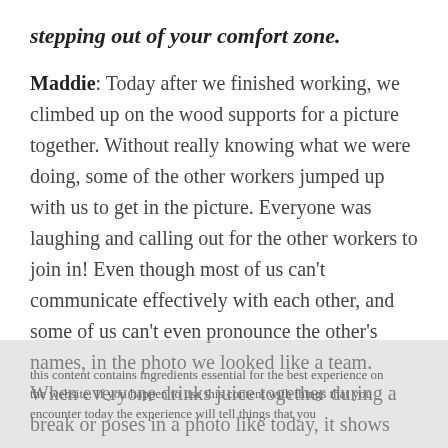stepping out of your comfort zone.
Maddie: Today after we finished working, we climbed up on the wood supports for a picture together. Without really knowing what we were doing, some of the other workers jumped up with us to get in the picture. Everyone was laughing and calling out for the other workers to join in! Even though most of us can't communicate effectively with each other, and some of us can't even pronounce the other's names, in the photo we looked like a team. When everyone drinks juice together during a break or poses in a photo like today, it shows me that it's possible to create a strong connection with others despite